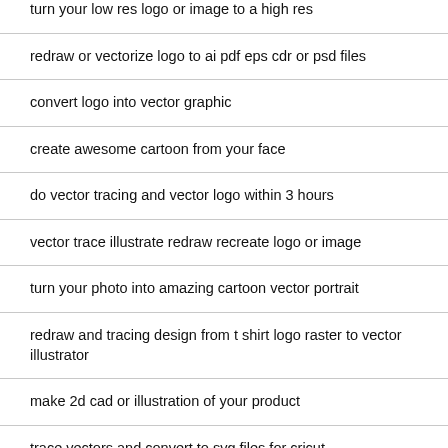turn your low res logo or image to a high res
redraw or vectorize logo to ai pdf eps cdr or psd files
convert logo into vector graphic
create awesome cartoon from your face
do vector tracing and vector logo within 3 hours
vector trace illustrate redraw recreate logo or image
turn your photo into amazing cartoon vector portrait
redraw and tracing design from t shirt logo raster to vector illustrator
make 2d cad or illustration of your product
trace vectors and convert to svg files for cricut
do vector traceing vectorize redraw logo image to